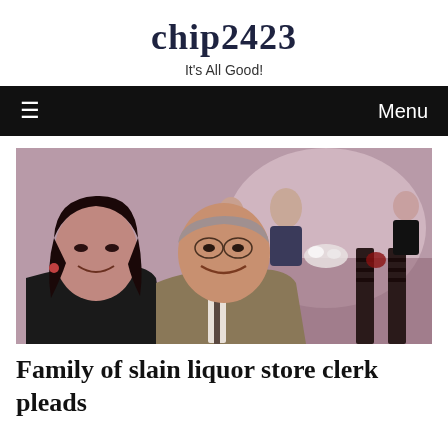chip2423
It's All Good!
≡  Menu
[Figure (photo): Two people smiling at a formal event or banquet. A woman with dark hair on the left and an older man in a suit on the right, seated at a table with flowers and other guests visible in the background.]
Family of slain liquor store clerk pleads